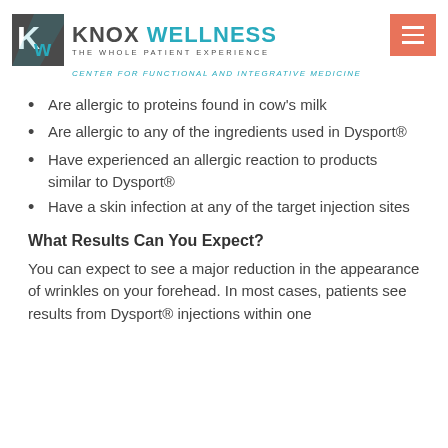[Figure (logo): Knox Wellness logo with teal and gray KW icon, text 'KNOX WELLNESS - THE WHOLE PATIENT EXPERIENCE - CENTER FOR FUNCTIONAL AND INTEGRATIVE MEDICINE']
Are allergic to proteins found in cow's milk
Are allergic to any of the ingredients used in Dysport®
Have experienced an allergic reaction to products similar to Dysport®
Have a skin infection at any of the target injection sites
What Results Can You Expect?
You can expect to see a major reduction in the appearance of wrinkles on your forehead. In most cases, patients see results from Dysport® injections within one